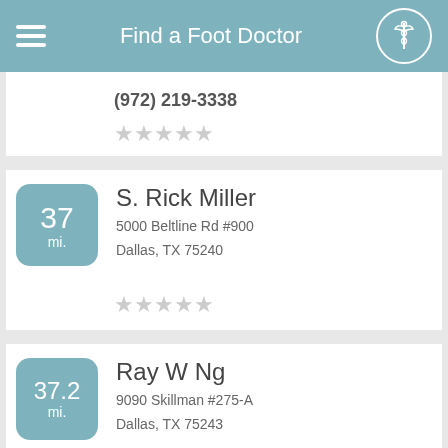Find a Foot Doctor
(972) 219-3338
S. Rick Miller
5000 Beltline Rd #900
Dallas, TX 75240
37 mi.
Ray W Ng
9090 Skillman #275-A
Dallas, TX 75243
37.2 mi.
Jeffrey M Radack